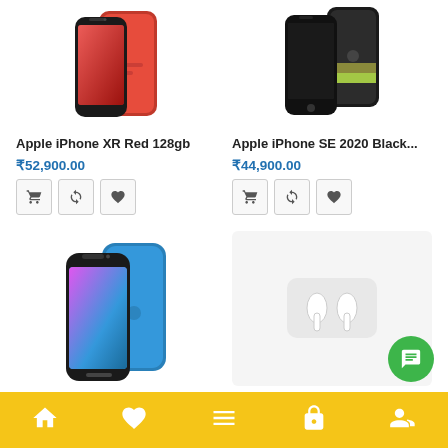[Figure (photo): Apple iPhone XR Red 128gb product photo showing red iPhone from front and back]
Apple iPhone XR Red 128gb
₹52,900.00
[Figure (photo): Apple iPhone SE 2020 Black product photo showing two black iPhones]
Apple iPhone SE 2020 Black...
₹44,900.00
[Figure (photo): Apple iPhone XR Blue product photo showing blue iPhone from front and back]
[Figure (photo): Apple AirPods product photo (partially visible)]
Home | Wishlist | Menu | Cart | Basket